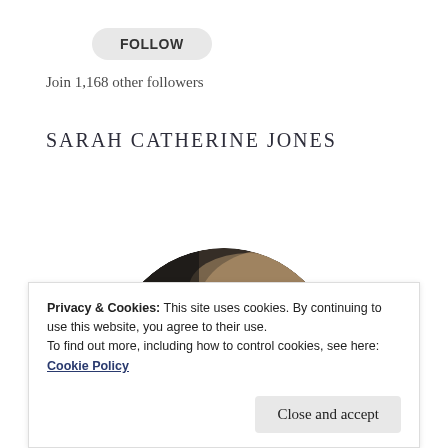FOLLOW
Join 1,168 other followers
SARAH CATHERINE JONES
[Figure (photo): Circular cropped profile photo of a woman, partially obscured by a cookie consent banner overlay. Background is blurred dark interior.]
Privacy & Cookies: This site uses cookies. By continuing to use this website, you agree to their use.
To find out more, including how to control cookies, see here: Cookie Policy
Close and accept